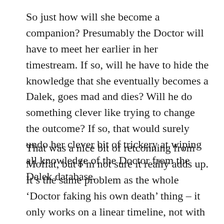So just how will she become a companion? Presumably the Doctor will have to meet her earlier in her timestream. If so, will he have to hide the knowledge that she eventually becomes a Dalek, goes mad and dies? Will he do something clever like trying to change the outcome? If so, that would surely undo her clever bit of trickery at wiping all knowledge of the Doctor from the Dalek database.
That was a nice bit of retconning from Moffat, but I'm not sure it really adds up. It's the same problem as the whole 'Doctor faking his own death' thing – it only works on a linear timeline, not with a character who can pop up anywhere in history. The Daleks aren't going to